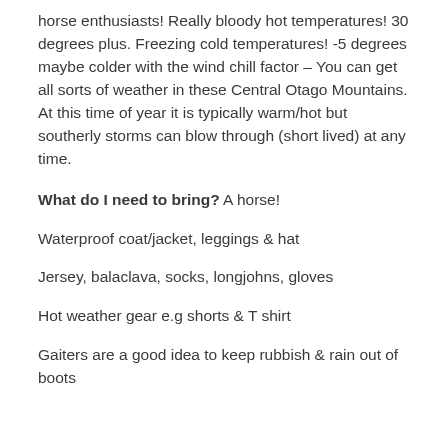horse enthusiasts! Really bloody hot temperatures! 30 degrees plus. Freezing cold temperatures! -5 degrees maybe colder with the wind chill factor – You can get all sorts of weather in these Central Otago Mountains. At this time of year it is typically warm/hot but southerly storms can blow through (short lived) at any time.
What do I need to bring? A horse!
Waterproof coat/jacket, leggings & hat
Jersey, balaclava, socks, longjohns, gloves
Hot weather gear e.g shorts & T shirt
Gaiters are a good idea to keep rubbish & rain out of boots